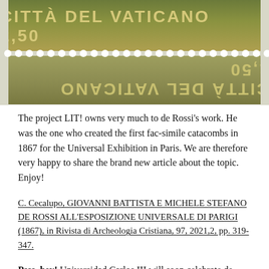[Figure (photo): Vatican City postage stamp showing 'CITTÀ DEL VATICANO 2,50' text in gold on olive-green background, with perforations visible and a mirrored/reflected version of the stamp below]
The project LIT! owns very much to de Rossi's work. He was the one who created the first fac-simile catacombs in 1867 for the Universal Exhibition in Paris. We are therefore very happy to share the brand new article about the topic. Enjoy!
C. Cecalupo, GIOVANNI BATTISTA E MICHELE STEFANO DE ROSSI ALL'ESPOSIZIONE UNIVERSALE DI PARIGI (1867), in Rivista di Archeologia Cristiana, 97, 2021,2, pp. 319-347.
Psss, hey! Universidad Carlos III will soon celebrate de Rossi with a special exhibition. Stay tuned...